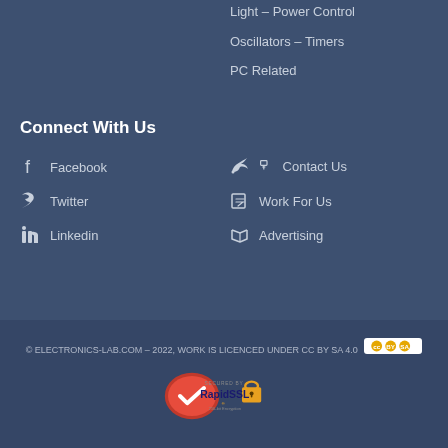Light – Power Control
Oscillators – Timers
PC Related
Connect With Us
Facebook
Contact Us
Twitter
Work For Us
Linkedin
Advertising
© ELECTRONICS-LAB.COM – 2022, WORK IS LICENCED UNDER CC BY SA 4.0
[Figure (logo): RapidSSL 256-bit Encryption Secured By badge]